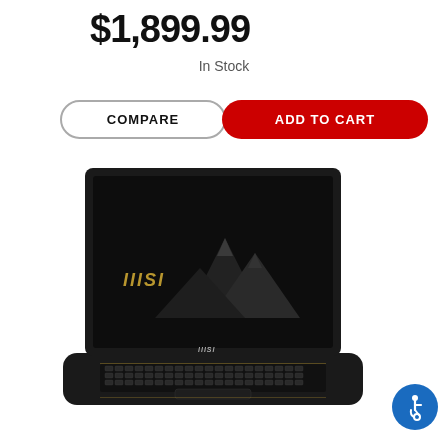$1,899.99
In Stock
COMPARE
ADD TO CART
[Figure (photo): MSI laptop open, showing a dark screen with the MSI logo in gold text on the left and a dark mountain illustration on the right, with a backlit keyboard visible below.]